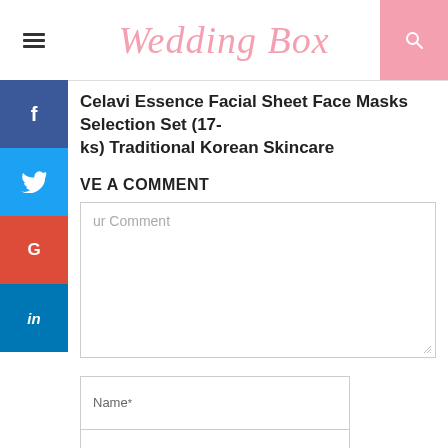Wedding Box
Celavi Essence Facial Sheet Face Masks Selection Set (17-packs) Traditional Korean Skincare
LEAVE A COMMENT
Your Comment
Name*
Email*